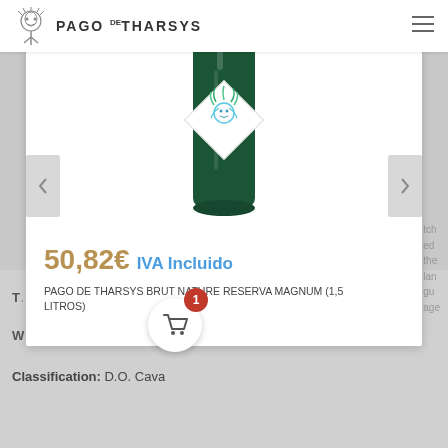PAGO DE THARSYS
[Figure (photo): Green wine bottle with colorful Medusa/decorative label, Pago de Tharsys Brut Nature Reserva Magnum]
50,82€ IVA Incluido
PAGO DE THARSYS BRUT NATURE RESERVA MAGNUM (1,5 LITROS)
Sparkling white wine.
100% Chardonnay
Classification: D.O. Cava